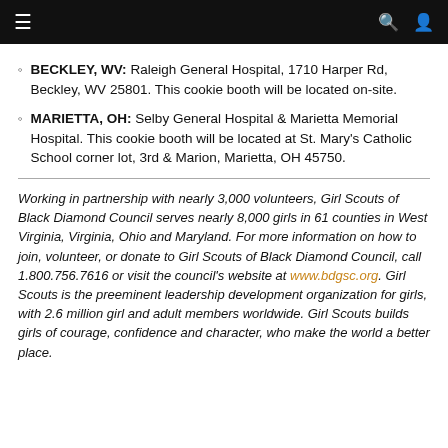Navigation bar with menu, search, and user icons
BECKLEY, WV: Raleigh General Hospital, 1710 Harper Rd, Beckley, WV 25801. This cookie booth will be located on-site.
MARIETTA, OH: Selby General Hospital & Marietta Memorial Hospital. This cookie booth will be located at St. Mary's Catholic School corner lot, 3rd & Marion, Marietta, OH 45750.
Working in partnership with nearly 3,000 volunteers, Girl Scouts of Black Diamond Council serves nearly 8,000 girls in 61 counties in West Virginia, Virginia, Ohio and Maryland. For more information on how to join, volunteer, or donate to Girl Scouts of Black Diamond Council, call 1.800.756.7616 or visit the council's website at www.bdgsc.org. Girl Scouts is the preeminent leadership development organization for girls, with 2.6 million girl and adult members worldwide. Girl Scouts builds girls of courage, confidence and character, who make the world a better place.